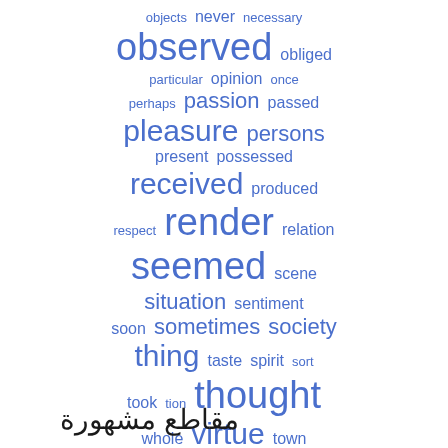[Figure (other): Word cloud containing English words in various sizes in blue color, arranged in rows: objects, never, necessary; observed, obliged; particular, opinion, once; perhaps, passion, passed; pleasure, persons; present, possessed; received, produced; respect, render, relation; seemed, scene; situation, sentiment; soon, sometimes, society; thing, taste, spirit, sort; took, tion, thought; whole, virtue, town; young, wished]
مقاطع مشهورة